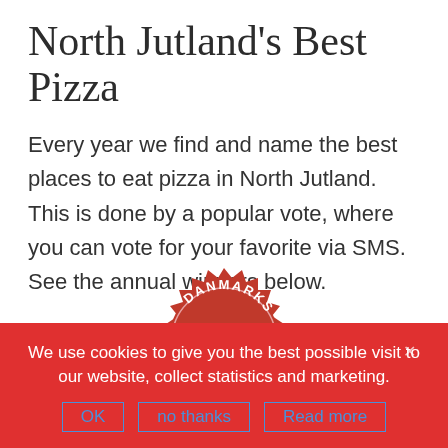North Jutland's Best Pizza
Every year we find and name the best places to eat pizza in North Jutland. This is done by a popular vote, where you can vote for your favorite via SMS. See the annual winners below.
[Figure (logo): Red badge/seal logo with spiky border. Text reads 'DANMARKS' along the top arc, '2021' in the center, and 'Pizza' on a dark red banner across the bottom. A faded red trophy/figure is visible below the banner.]
We use cookies to give you the best possible visit to our website, collect statistics and marketing.
OK   no thanks   Read more